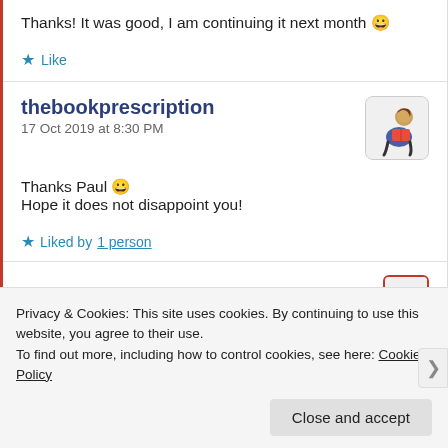Thanks! It was good, I am continuing it next month 😀
★ Like
thebookprescription
17 Oct 2019 at 8:30 PM
Thanks Paul 😀
Hope it does not disappoint you!
★ Liked by 1 person
Privacy & Cookies: This site uses cookies. By continuing to use this website, you agree to their use.
To find out more, including how to control cookies, see here: Cookie Policy
Close and accept